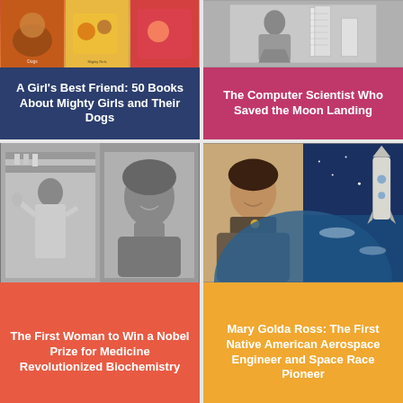[Figure (illustration): Book covers collage showing children's books about girls and dogs, colorful illustrated covers]
A Girl's Best Friend: 50 Books About Mighty Girls and Their Dogs
[Figure (photo): Black and white photo of a woman standing next to tall stacks of papers/documents]
The Computer Scientist Who Saved the Moon Landing
[Figure (photo): Two black and white photos side by side: left shows a woman working in a lab, right shows a portrait of a woman]
The First Woman to Win a Nobel Prize for Medicine Revolutionized Biochemistry
[Figure (photo): Two photos side by side: left shows a color portrait of Mary Golda Ross smiling, right shows a rocket/spacecraft against Earth backdrop]
Mary Golda Ross: The First Native American Aerospace Engineer and Space Race Pioneer
[Figure (photo): Partial view of a photo at the bottom left, partially cut off]
[Figure (photo): Partial view of a photo at the bottom right, partially cut off]